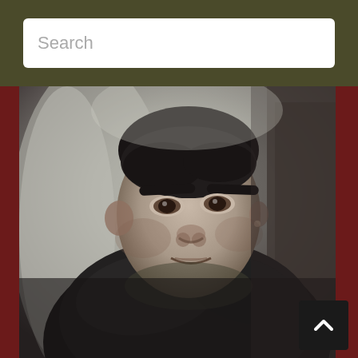Search
[Figure (photo): Black and white photograph of a man looking slightly to the side, wearing a dark jacket and tie, with curtains or fabric visible in the background.]